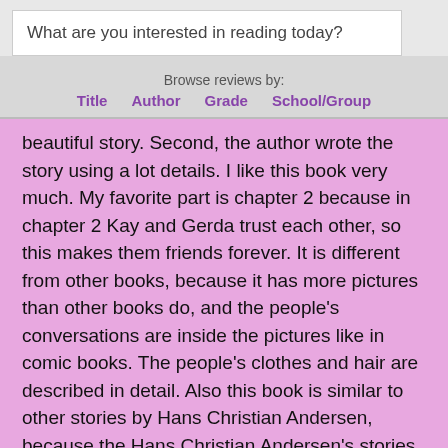What are you interested in reading today?
Browse reviews by:
Title  Author  Grade  School/Group
beautiful story. Second, the author wrote the story using a lot details. I like this book very much. My favorite part is chapter 2 because in chapter 2 Kay and Gerda trust each other, so this makes them friends forever. It is different from other books, because it has more pictures than other books do, and the people's conversations are inside the pictures like in comic books. The people's clothes and hair are described in detail. Also this book is similar to other stories by Hans Christian Andersen, because the Hans Christian Andersen's stories often have magic.
I recommend this book, because the story in this book is pretty good. Inside of this book there are lots of pictures to help readers understand the story. The pictures also make the book more fun to read. I recommend this book since this story